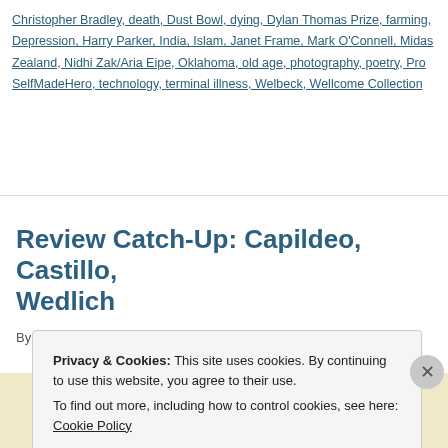Christopher Bradley, death, Dust Bowl, dying, Dylan Thomas Prize, farming, Great Depression, Harry Parker, India, Islam, Janet Frame, Mark O'Connell, Midas New Zealand, Nidhi Zak/Aria Eipe, Oklahoma, old age, photography, poetry, Pro SelfMadeHero, technology, terminal illness, Welbeck, Wellcome Collection
Review Catch-Up: Capildeo, Castillo, Wedlich
By Rebecca Foster on April 20, 2022 | 17 Comments
Privacy & Cookies: This site uses cookies. By continuing to use this website, you agree to their use. To find out more, including how to control cookies, see here: Cookie Policy
Close and accept